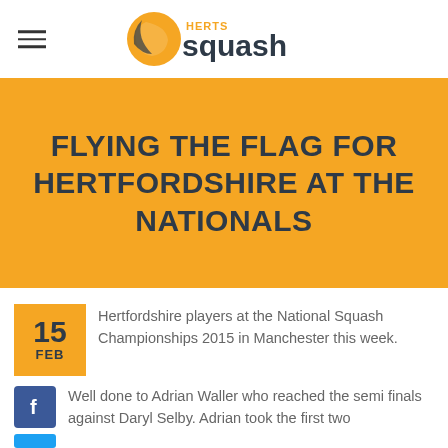HERTS squash
FLYING THE FLAG FOR HERTFORDSHIRE AT THE NATIONALS
Hertfordshire players at the National Squash Championships 2015 in Manchester this week.
Well done to Adrian Waller who reached the semi finals against Daryl Selby. Adrian took the first two games before fought to take...